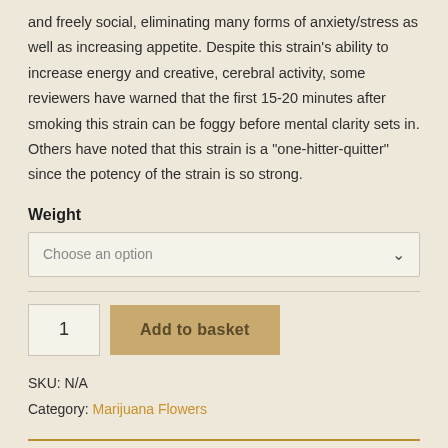and freely social, eliminating many forms of anxiety/stress as well as increasing appetite. Despite this strain's ability to increase energy and creative, cerebral activity, some reviewers have warned that the first 15-20 minutes after smoking this strain can be foggy before mental clarity sets in. Others have noted that this strain is a "one-hitter-quitter" since the potency of the strain is so strong.
Weight
Choose an option
1  Add to basket
SKU: N/A
Category: Marijuana Flowers
Description